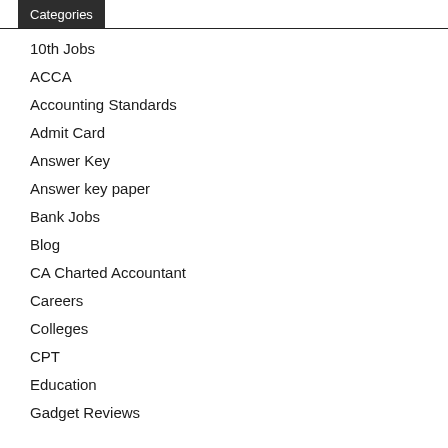Categories
10th Jobs
ACCA
Accounting Standards
Admit Card
Answer Key
Answer key paper
Bank Jobs
Blog
CA Charted Accountant
Careers
Colleges
CPT
Education
Gadget Reviews